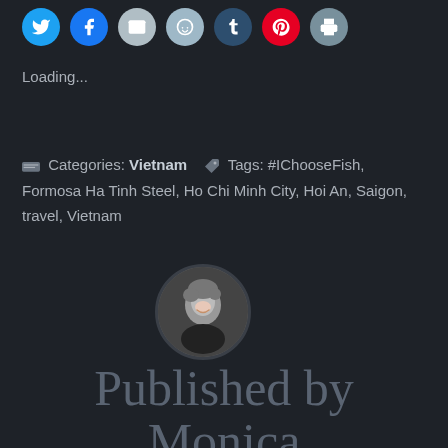[Figure (other): Row of social share icon buttons: Twitter (blue), Facebook (blue), Email (grey), Reddit (light blue), Tumblr (dark blue), Pinterest (red), Print (grey)]
Loading...
Categories: Vietnam  Tags: #IChooseFish, Formosa Ha Tinh Steel, Ho Chi Minh City, Hoi An, Saigon, travel, Vietnam
[Figure (photo): Circular black and white portrait photo of a woman with short light hair, smiling]
Published by Monica